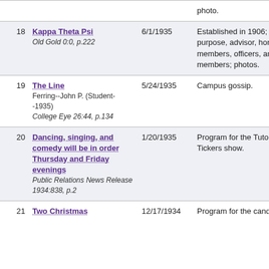| # | Title / Source | Date | Description |
| --- | --- | --- | --- |
|  |  |  | photo. |
| 18 | Kappa Theta Psi
Old Gold 0:0, p.222 | 6/1/1935 | Established in 1906; purpose, advisor, honorary members, officers, and members; photos. |
| 19 | The Line
Ferring--John P. (Student--1935)
College Eye 26:44, p.134 | 5/24/1935 | Campus gossip. |
| 20 | Dancing, singing, and comedy will be in order Thursday and Friday evenings
Public Relations News Release 1934:838, p.2 | 1/20/1935 | Program for the Tutor Tickers show. |
| 21 | Two Christmas | 12/17/1934 | Program for the candle... |